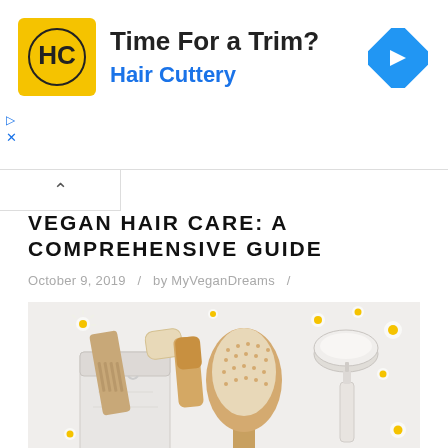[Figure (other): Hair Cuttery advertisement banner with logo, tagline 'Time For a Trim?' and blue navigation arrow icon]
VEGAN HAIR CARE: A COMPREHENSIVE GUIDE
October 9, 2019   /   by MyVeganDreams   /
[Figure (photo): Flat lay photo of vegan hair care items including wooden comb, natural brush, wooden paddle hair brush, cream in round container, serum bottle, white drawstring bag, and white daisy flowers on a light background]